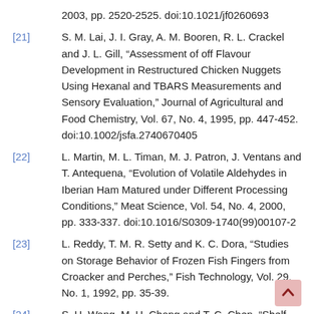2003, pp. 2520-2525. doi:10.1021/jf0260693
[21] S. M. Lai, J. I. Gray, A. M. Booren, R. L. Crackel and J. L. Gill, “Assessment of off Flavour Development in Restructured Chicken Nuggets Using Hexanal and TBARS Measurements and Sensory Evaluation,” Journal of Agricultural and Food Chemistry, Vol. 67, No. 4, 1995, pp. 447-452. doi:10.1002/jsfa.2740670405
[22] L. Martin, M. L. Timan, M. J. Patron, J. Ventans and T. Antequena, “Evolution of Volatile Aldehydes in Iberian Ham Matured under Different Processing Conditions,” Meat Science, Vol. 54, No. 4, 2000, pp. 333-337. doi:10.1016/S0309-1740(99)00107-2
[23] L. Reddy, T. M. R. Setty and K. C. Dora, “Studies on Storage Behavior of Frozen Fish Fingers from Croacker and Perches,” Fish Technology, Vol. 29, No. 1, 1992, pp. 35-39.
[24] S. H. Wang, M. H. Chang and T. C. Chen, “Shelf-Life and